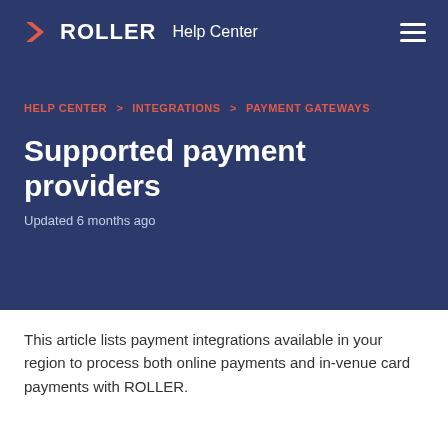ROLLER Help Center
HELP CENTER > INTEGRATIONS > PAYMENT GATEWAYS
Supported payment providers
Updated 6 months ago
This article lists payment integrations available in your region to process both online payments and in-venue card payments with ROLLER.